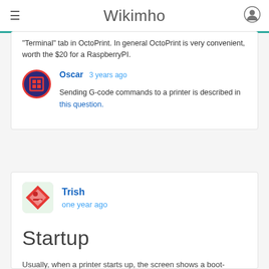Wikimho
"Terminal" tab in OctoPrint. In general OctoPrint is very convenient, worth the $20 for a RaspberryPI.
Oscar  3 years ago
Sending G-code commands to a printer is described in this question.
Trish
one year ago
Startup
Usually, when a printer starts up, the screen shows a boot-screen. This contains usually the firmware version, but not